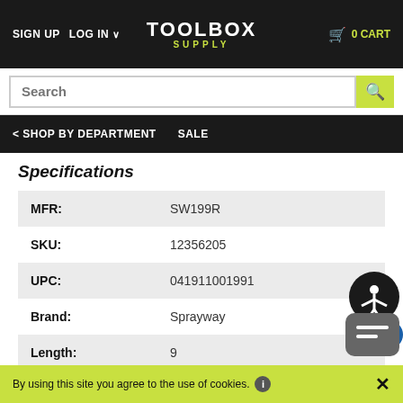SIGN UP  LOG IN  TOOLBOX SUPPLY  0 CART
Search
< SHOP BY DEPARTMENT  SALE
Specifications
| Field | Value |
| --- | --- |
| MFR: | SW199R |
| SKU: | 12356205 |
| UPC: | 041911001991 |
| Brand: | Sprayway |
| Length: | 9 |
| Width: | 1 |
| Height: | 5 |
By using this site you agree to the use of cookies.